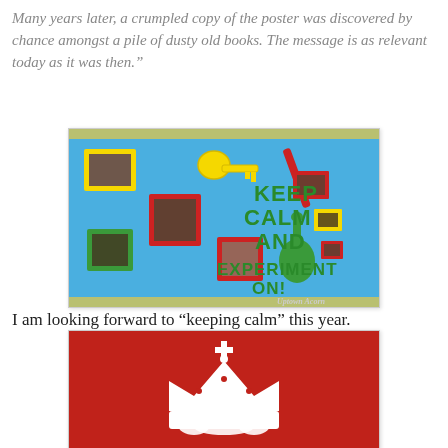Many years later, a crumpled copy of the poster was discovered by chance amongst a pile of dusty old books. The message is as relevant today as it was then.”
[Figure (photo): A classroom bulletin board with a blue background reading 'KEEP CALM AND EXPERIMENT ON!' in green letters, decorated with student photos in colorful frames, a yellow key shape, a red diagonal stripe, and a green guitar shape. Watermark: Uptown Acorn.]
I am looking forward to “keeping calm” this year.
[Figure (photo): A red background with a white crown symbol, resembling the 'Keep Calm and Carry On' poster style.]